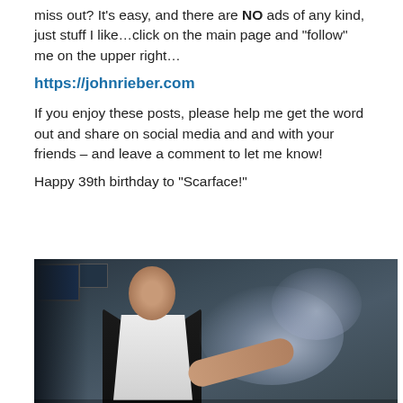miss out? It's easy, and there are NO ads of any kind, just stuff I like…click on the main page and "follow" me on the upper right…
https://johnrieber.com
If you enjoy these posts, please help me get the word out and share on social media and and with your friends – and leave a comment to let me know!
Happy 39th birthday to "Scarface!"
[Figure (photo): A still from the movie Scarface showing the main character in a dark suit with a white shirt, with blue smoke visible in the foreground/right side of the image, and TV monitors in the dark background.]